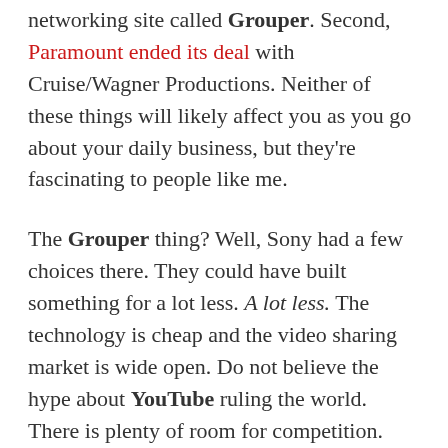networking site called Grouper. Second, Paramount ended its deal with Cruise/Wagner Productions. Neither of these things will likely affect you as you go about your daily business, but they're fascinating to people like me.
The Grouper thing? Well, Sony had a few choices there. They could have built something for a lot less. A lot less. The technology is cheap and the video sharing market is wide open. Do not believe the hype about YouTube ruling the world. There is plenty of room for competition. You need to recall that YouTube is only now approaching its first birthday.
In essence, Sony paid the $65 mil for the site's user base. Only time will tell if that's a good